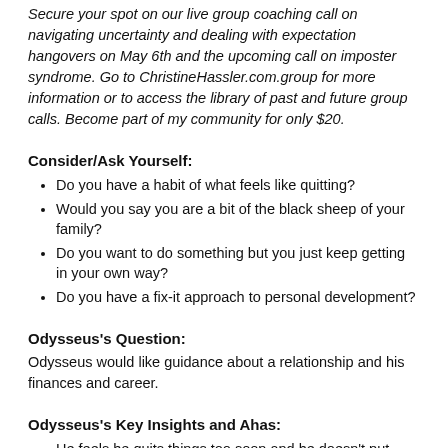Secure your spot on our live group coaching call on navigating uncertainty and dealing with expectation hangovers on May 6th and the upcoming call on imposter syndrome. Go to ChristineHassler.com.group for more information or to access the library of past and future group calls. Become part of my community for only $20.
Consider/Ask Yourself:
Do you have a habit of what feels like quitting?
Would you say you are a bit of the black sheep of your family?
Do you want to do something but you just keep getting in your own way?
Do you have a fix-it approach to personal development?
Odysseus's Question:
Odysseus would like guidance about a relationship and his finances and career.
Odysseus's Key Insights and Ahas:
He feels he quits things too soon and he doesn't put forth much effort.
He is a personal growth junkie.